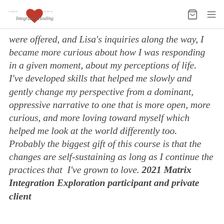Integrative Healing [logo with heart]
were offered, and Lisa's inquiries along the way, I became more curious about how I was responding in a given moment, about my perceptions of life.  I've developed skills that helped me slowly and gently change my perspective from a dominant, oppressive narrative to one that is more open, more curious, and more loving toward myself which helped me look at the world differently too. Probably the biggest gift of this course is that the changes are self-sustaining as long as I continue the practices that  I've grown to love. 2021 Matrix Integration Exploration participant and private client